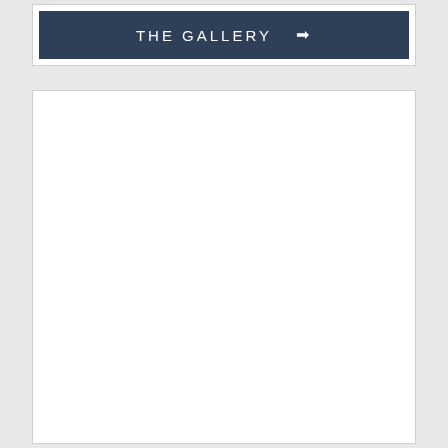THE GALLERY →
[Figure (other): Large empty white content area/panel below the gallery banner]